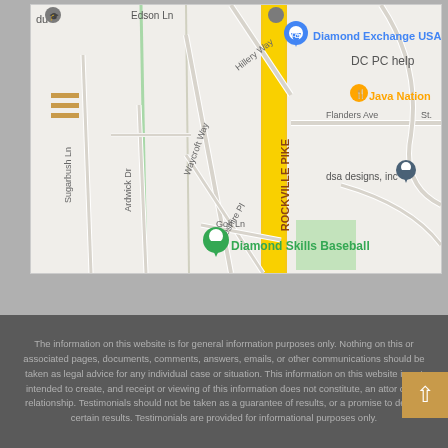[Figure (map): Google Maps screenshot showing area around Rockville Pike with Diamond Exchange USA, Java Nation, Diamond Skills Baseball, dsa designs inc, and street names including Sugarbush Ln, Ardwick Dr, Waycroft Way, Hillery Way, Flanders Ave, Middleshre Pl, Golf Ln]
The information on this website is for general information purposes only. Nothing on this or associated pages, documents, comments, answers, emails, or other communications should be taken as legal advice for any individual case or situation. This information on this website is not intended to create, and receipt or viewing of this information does not constitute, an attorney client relationship. Testimonials should not be taken as a guarantee of results or a promise to deliver certain results. Testimonials are provided for informational purposes only.